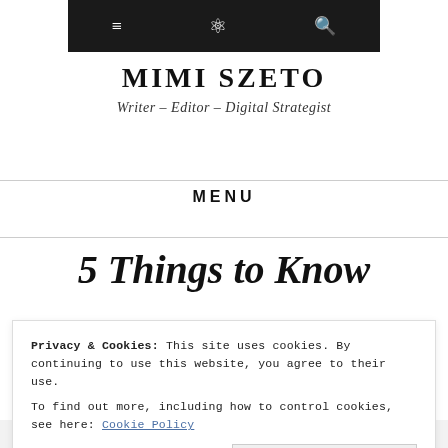[Figure (screenshot): Top navigation bar with dark background showing hamburger menu, link icon, and search icon]
MIMI SZETO
Writer – Editor – Digital Strategist
MENU
5 Things to Know
Privacy & Cookies: This site uses cookies. By continuing to use this website, you agree to their use. To find out more, including how to control cookies, see here: Cookie Policy
Close and accept